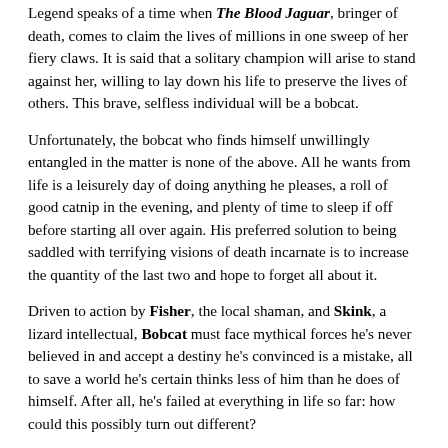Legend speaks of a time when The Blood Jaguar, bringer of death, comes to claim the lives of millions in one sweep of her fiery claws. It is said that a solitary champion will arise to stand against her, willing to lay down his life to preserve the lives of others. This brave, selfless individual will be a bobcat.
Unfortunately, the bobcat who finds himself unwillingly entangled in the matter is none of the above. All he wants from life is a leisurely day of doing anything he pleases, a roll of good catnip in the evening, and plenty of time to sleep if off before starting all over again. His preferred solution to being saddled with terrifying visions of death incarnate is to increase the quantity of the last two and hope to forget all about it.
Driven to action by Fisher, the local shaman, and Skink, a lizard intellectual, Bobcat must face mythical forces he's never believed in and accept a destiny he's convinced is a mistake, all to save a world he's certain thinks less of him than he does of himself. After all, he's failed at everything in life so far: how could this possibly turn out different?
The Blood Jaguar is a high fantasy story where the grand